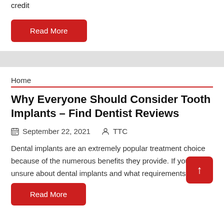credit
Read More
Home
Why Everyone Should Consider Tooth Implants – Find Dentist Reviews
September 22, 2021  TTC
Dental implants are an extremely popular treatment choice because of the numerous benefits they provide. If you're unsure about dental implants and what requirements there
Read More